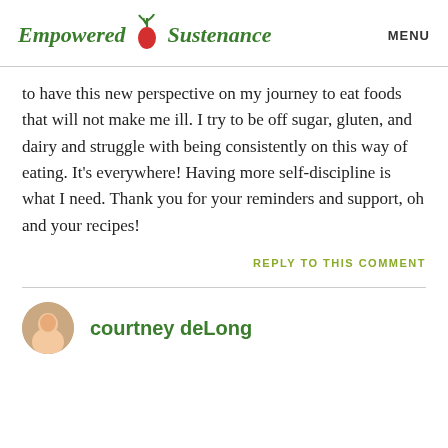Empowered Sustenance   MENU
to have this new perspective on my journey to eat foods that will not make me ill. I try to be off sugar, gluten, and dairy and struggle with being consistently on this way of eating. It’s everywhere! Having more self-discipline is what I need. Thank you for your reminders and support, oh and your recipes!
REPLY TO THIS COMMENT
courtney deLong